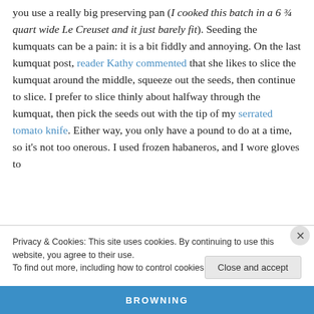you use a really big preserving pan (I cooked this batch in a 6 ¾ quart wide Le Creuset and it just barely fit). Seeding the kumquats can be a pain: it is a bit fiddly and annoying. On the last kumquat post, reader Kathy commented that she likes to slice the kumquat around the middle, squeeze out the seeds, then continue to slice. I prefer to slice thinly about halfway through the kumquat, then pick the seeds out with the tip of my serrated tomato knife. Either way, you only have a pound to do at a time, so it's not too onerous. I used frozen habaneros, and I wore gloves to
Privacy & Cookies: This site uses cookies. By continuing to use this website, you agree to their use.
To find out more, including how to control cookies, see here: Cookie Policy
Close and accept